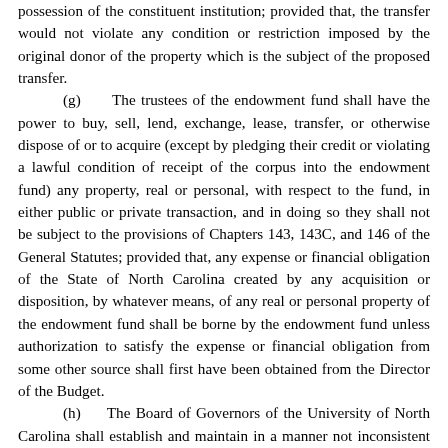possession of the constituent institution; provided that, the transfer would not violate any condition or restriction imposed by the original donor of the property which is the subject of the proposed transfer.
(g) The trustees of the endowment fund shall have the power to buy, sell, lend, exchange, lease, transfer, or otherwise dispose of or to acquire (except by pledging their credit or violating a lawful condition of receipt of the corpus into the endowment fund) any property, real or personal, with respect to the fund, in either public or private transaction, and in doing so they shall not be subject to the provisions of Chapters 143, 143C, and 146 of the General Statutes; provided that, any expense or financial obligation of the State of North Carolina created by any acquisition or disposition, by whatever means, of any real or personal property of the endowment fund shall be borne by the endowment fund unless authorization to satisfy the expense or financial obligation from some other source shall first have been obtained from the Director of the Budget.
(h) The Board of Governors of the University of North Carolina shall establish and maintain in a manner not inconsistent with the provisions of this section or with